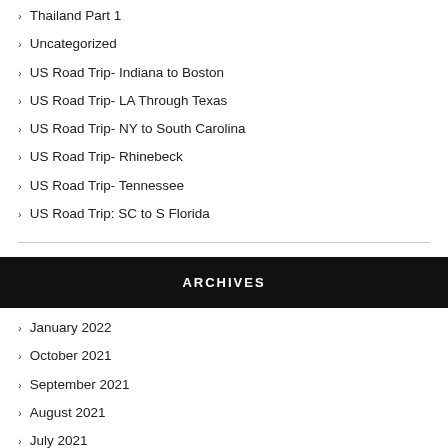Thailand Part 1
Uncategorized
US Road Trip- Indiana to Boston
US Road Trip- LA Through Texas
US Road Trip- NY to South Carolina
US Road Trip- Rhinebeck
US Road Trip- Tennessee
US Road Trip: SC to S Florida
ARCHIVES
January 2022
October 2021
September 2021
August 2021
July 2021
June 2021
May 2021
April 2021